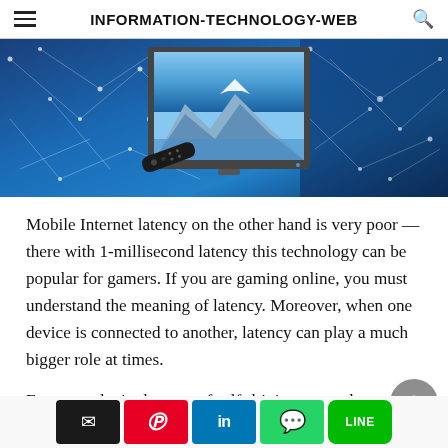INFORMATION-TECHNOLOGY-WEB
[Figure (photo): Hero banner showing a smart TV displaying mountain landscape, with a remote control, set against a blue digital network background with geometric lines and nodes.]
Mobile Internet latency on the other hand is very poor — there with 1-millisecond latency this technology can be popular for gamers. If you are gaming online, you must understand the meaning of latency. Moreover, when one device is connected to another, latency can play a much bigger role at times.
For example, in the case of self-driving cars, where one self-driving car needs to be connected to another, the